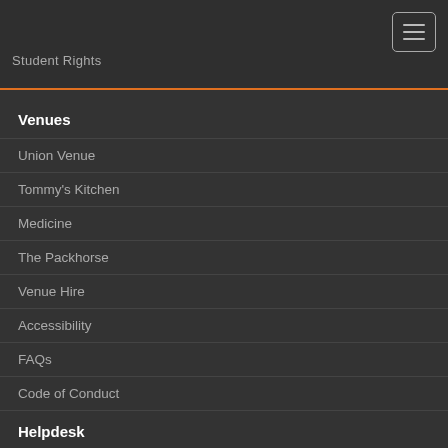Student Rights
Venues
Union Venue
Tommy's Kitchen
Medicine
The Packhorse
Venue Hire
Accessibility
FAQs
Code of Conduct
Terms & Conditions
Helpdesk